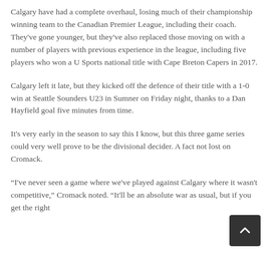Calgary have had a complete overhaul, losing much of their championship winning team to the Canadian Premier League, including their coach. They've gone younger, but they've also replaced those moving on with a number of players with previous experience in the league, including five players who won a U Sports national title with Cape Breton Capers in 2017.
Calgary left it late, but they kicked off the defence of their title with a 1-0 win at Seattle Sounders U23 in Sumner on Friday night, thanks to a Dan Hayfield goal five minutes from time.
It's very early in the season to say this I know, but this three game series could very well prove to be the divisional decider. A fact not lost on Cromack.
“I've never seen a game where we've played against Calgary where it wasn't competitive,” Cromack noted. “It'll be an absolute war as usual, but if you get the right…”